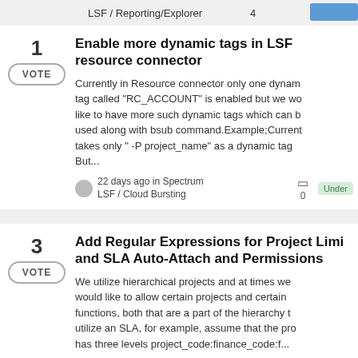LSF / Reporting/Explorer  4
1 VOTE — Enable more dynamic tags in LSF resource connector — Currently in Resource connector only one dynamic tag called "RC_ACCOUNT" is enabled but we would like to have more such dynamic tags which can be used along with bsub command.Example;Currently takes only " -P project_name" as a dynamic tag. But... — 22 days ago in Spectrum LSF / Cloud Bursting — 0 — Under
3 VOTE — Add Regular Expressions for Project Limits and SLA Auto-Attach and Permissions — We utilize hierarchical projects and at times we would like to allow certain projects and certain functions, both that are a part of the hierarchy to utilize an SLA, for example, assume that the project has three levels project_code:finance_code:f...